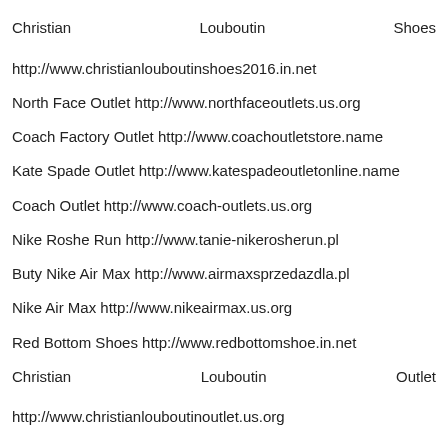Christian Louboutin Shoes http://www.christianlouboutinshoes2016.in.net
North Face Outlet http://www.northfaceoutlets.us.org
Coach Factory Outlet http://www.coachoutletstore.name
Kate Spade Outlet http://www.katespadeoutletonline.name
Coach Outlet http://www.coach-outlets.us.org
Nike Roshe Run http://www.tanie-nikerosherun.pl
Buty Nike Air Max http://www.airmaxsprzedazdla.pl
Nike Air Max http://www.nikeairmax.us.org
Red Bottom Shoes http://www.redbottomshoe.in.net
Christian Louboutin Outlet http://www.christianlouboutinoutlet.us.org